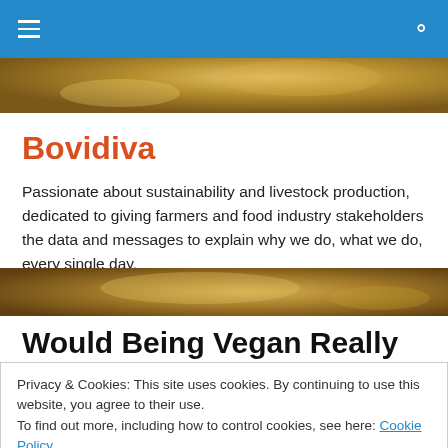Bovidiva — navigation bar with hamburger menu and search icon
[Figure (photo): Hero image of cattle, warm golden/brown tones, top strip]
Bovidiva
Passionate about sustainability and livestock production, dedicated to giving farmers and food industry stakeholders the data and messages to explain why we do, what we do, every single day.
[Figure (photo): Hero image of cattle, warm golden/brown tones, bottom strip]
Would Being Vegan Really Solve Climate Change? Not if
Privacy & Cookies: This site uses cookies. By continuing to use this website, you agree to their use.
To find out more, including how to control cookies, see here: Cookie Policy
Close and accept